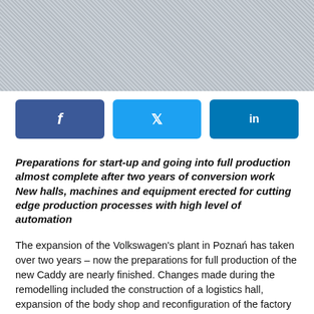[Figure (photo): Industrial machinery, metallic mesh/grid surface close-up]
[Figure (infographic): Social media sharing buttons: Facebook, Twitter, LinkedIn]
Preparations for start-up and going into full production almost complete after two years of conversion work New halls, machines and equipment erected for cutting edge production processes with high level of automation
The expansion of the Volkswagen's plant in Poznań has taken over two years – now the preparations for full production of the new Caddy are nearly finished. Changes made during the remodelling included the construction of a logistics hall, expansion of the body shop and reconfiguration of the factory site.